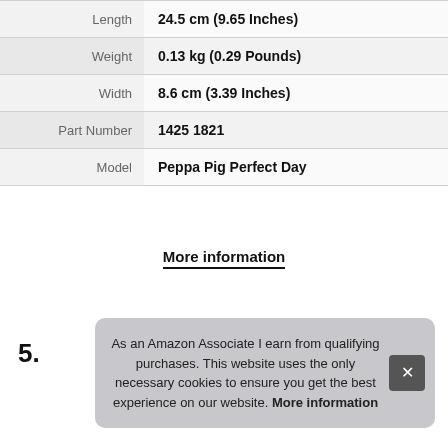|  |  |
| --- | --- |
| Length | 24.5 cm (9.65 Inches) |
| Weight | 0.13 kg (0.29 Pounds) |
| Width | 8.6 cm (3.39 Inches) |
| Part Number | 14251821 |
| Model | Peppa Pig Perfect Day |
More information
5.
As an Amazon Associate I earn from qualifying purchases. This website uses the only necessary cookies to ensure you get the best experience on our website. More information